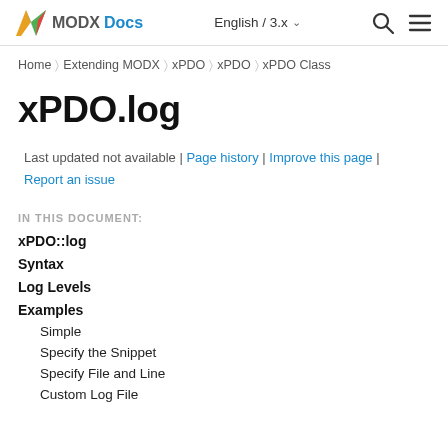MODX Docs | English / 3.x
Home > Extending MODX > xPDO > xPDO > xPDO Class
xPDO.log
Last updated not available | Page history | Improve this page | Report an issue
IN THIS DOCUMENT:
xPDO::log
Syntax
Log Levels
Examples
Simple
Specify the Snippet
Specify File and Line
Custom Log File